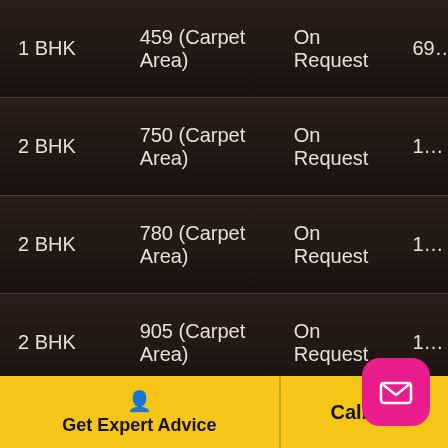| Type | Area | Price |  |
| --- | --- | --- | --- |
| 1 BHK | 459 (Carpet Area) | On Request | 69… |
| 2 BHK | 750 (Carpet Area) | On Request | 1… |
| 2 BHK | 780 (Carpet Area) | On Request | 1… |
| 2 BHK | 905 (Carpet Area) | On Request | 1… |
| 2 BHK | 1104 (Carpet Area) | On Request | 1… |
| 3 BHK | 1535 (Carpet Area) | On Request | 1… |
| 3 BHK | 1653 (Carpet Area) | On Request | 2… |
| 3 BHK | 1697 (Carpet Area) | On Request | 2… |
Get Expert Advice
Call Us